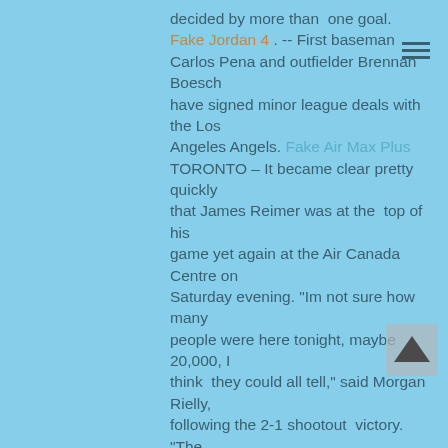decided by more than one goal. Fake Jordan 4. -- First baseman Carlos Pena and outfielder Brennan Boesch have signed minor league deals with the Los Angeles Angels. Fake Air Max Plus TORONTO – It became clear pretty quickly that James Reimer was at the top of his game yet again at the Air Canada Centre on Saturday evening. "Im not sure how many people were here tonight, maybe 20,000, I think they could all tell," said Morgan Rielly, following the 2-1 shootout victory. "The guys on his game." Reimer stopped 49 of 50 Washington shots in regulation, with Alex Ovechkin being the lone Capital scorer. He would then stop three of four in the shootout. The 25-year-old now leads the NHL with a sparkling .947 save percentage this season, stealing victory for his club once more on this night. "When you get into situations like tonight, it was one where we needed the save and he continued to make them," said Randy Carlyle of Reimer